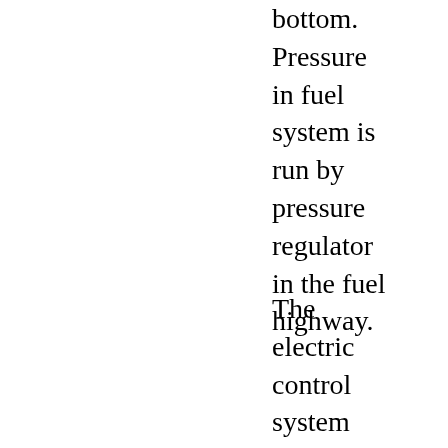bottom. Pressure in fuel system is run by pressure regulator in the fuel highway.
The electric control system consists of ECU along with the following